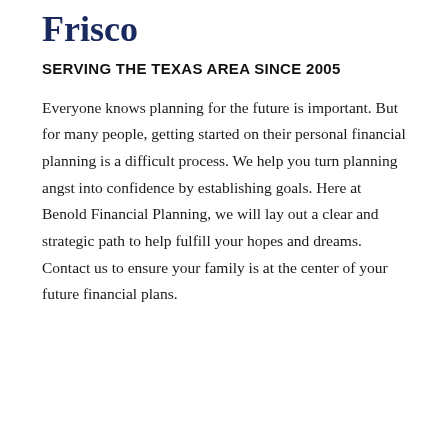Frisco
SERVING THE TEXAS AREA SINCE 2005
Everyone knows planning for the future is important. But for many people, getting started on their personal financial planning is a difficult process. We help you turn planning angst into confidence by establishing goals. Here at Benold Financial Planning, we will lay out a clear and strategic path to help fulfill your hopes and dreams. Contact us to ensure your family is at the center of your future financial plans.